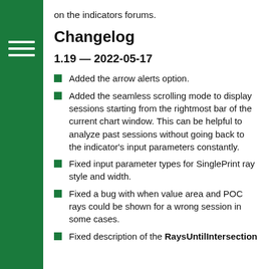on the indicators forums.
Changelog
1.19 — 2022-05-17
Added the arrow alerts option.
Added the seamless scrolling mode to display sessions starting from the rightmost bar of the current chart window. This can be helpful to analyze past sessions without going back to the indicator's input parameters constantly.
Fixed input parameter types for SinglePrint ray style and width.
Fixed a bug with when value area and POC rays could be shown for a wrong session in some cases.
Fixed description of the RaysUntilIntersection